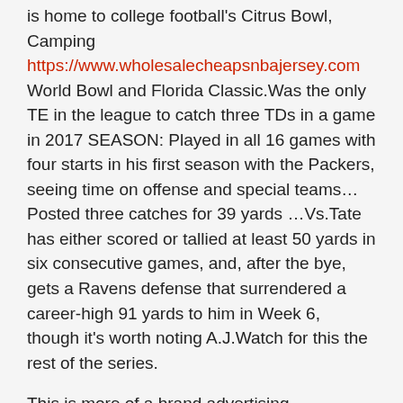is home to college football's Citrus Bowl, Camping https://www.wholesalecheapsnbajersey.com World Bowl and Florida Classic.Was the only TE in the league to catch three TDs in a game in 2017 SEASON: Played in all 16 games with four starts in his first season with the Packers, seeing time on offense and special teams…Posted three catches for 39 yards …Vs.Tate has either scored or tallied at least 50 yards in six consecutive games, and, after the bye, gets a Ravens defense that surrendered a career-high 91 yards to him in Week 6, though it's worth noting A.J.Watch for this the rest of the series.
This is more of a brand advertising opportunity for Nike than a retail one.6, had been with adidas via a five-year pact valued at about $23 million.▪?Joel Segal has been named CEO for global sports